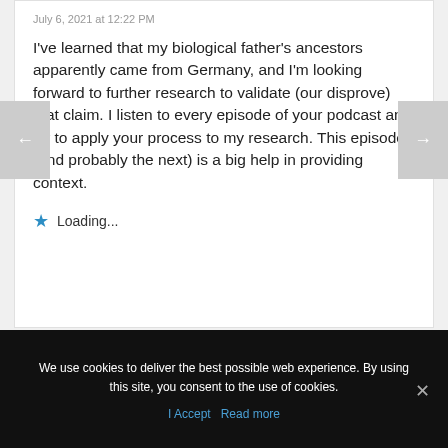July 6, 2021 at 12:22 PM
I've learned that my biological father's ancestors apparently came from Germany, and I'm looking forward to further research to validate (our disprove) that claim. I listen to every episode of your podcast and try to apply your process to my research. This episode (and probably the next) is a big help in providing context.
Loading...
We use cookies to deliver the best possible web experience. By using this site, you consent to the use of cookies.
I Accept  Read more